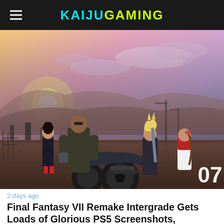KAIJUGAMING
[Figure (screenshot): Final Fantasy VII Remake Intergrade game screenshot showing characters Tifa, Barret, Cloud, and Aerith viewed from behind, standing near a large motorcycle on a rooftop overlooking a dystopian city at sunset. Number '07' in bottom right corner.]
2 days ago
Final Fantasy VII Remake Intergrade Gets Loads of Glorious PS5 Screenshots,